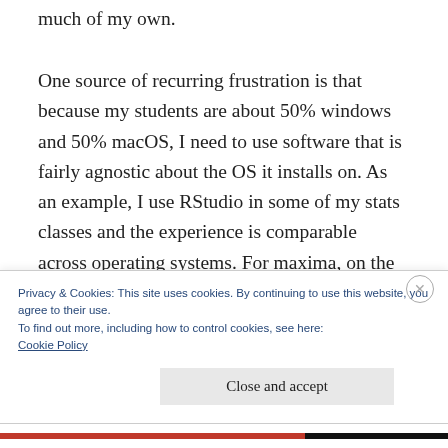much of my own.

One source of recurring frustration is that because my students are about 50% windows and 50% macOS, I need to use software that is fairly agnostic about the OS it installs on. As an example, I use RStudio in some of my stats classes and the experience is comparable across operating systems. For maxima, on the other hand, each year brings with it a new wrinkle for macOS installation. You'll see a hasty Jan. 2020
Privacy & Cookies: This site uses cookies. By continuing to use this website, you agree to their use.
To find out more, including how to control cookies, see here:
Cookie Policy
Close and accept